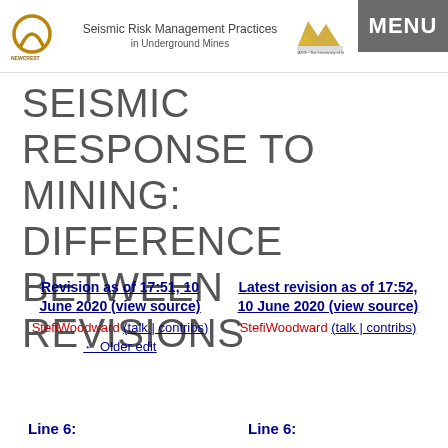Seismic Risk Management Practices in Underground Mines
SEISMIC RESPONSE TO MINING: DIFFERENCE BETWEEN REVISIONS
Revision as of 17:51, 10 June 2020 (view source)
StefiWoodward (talk | contribs)
← Older edit
Latest revision as of 17:52, 10 June 2020 (view source)
StefiWoodward (talk | contribs)
Line 6:
Line 6: